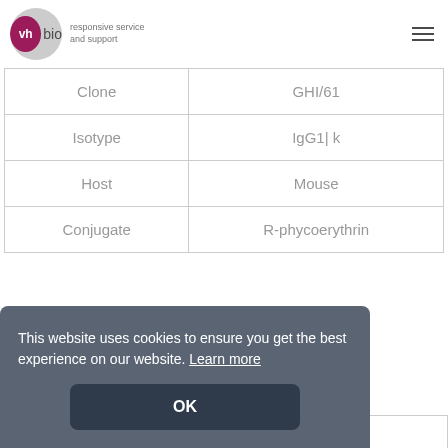[Figure (logo): vh bio logo with circular grey background, 'vh' in magenta circle, 'bio' in dark text, tagline 'responsive service and support']
| Property | Value |
| --- | --- |
| Clone | GHI/61 |
| Isotype | IgG1| k |
| Host | Mouse |
| Conjugate | R-phycoerythrin |
| Units | 200 μg |
This website uses cookies to ensure you get the best experience on our website. Learn more
OK